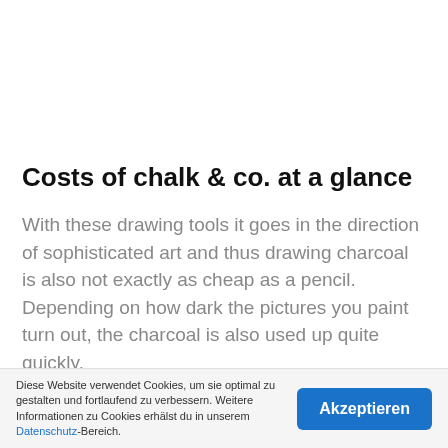Costs of chalk & co. at a glance
With these drawing tools it goes in the direction of sophisticated art and thus drawing charcoal is also not exactly as cheap as a pencil. Depending on how dark the pictures you paint turn out, the charcoal is also used up quite quickly.
It's the same with graphite, in terms of cost
Diese Website verwendet Cookies, um sie optimal zu gestalten und fortlaufend zu verbessern. Weitere Informationen zu Cookies erhälst du in unserem Datenschutz-Bereich.